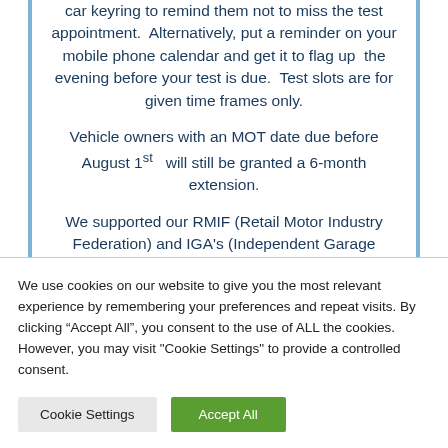car keyring to remind them not to miss the test appointment. Alternatively, put a reminder on your mobile phone calendar and get it to flag up the evening before your test is due. Test slots are for given time frames only.
Vehicle owners with an MOT date due before August 1st will still be granted a 6-month extension.
We supported our RMIF (Retail Motor Industry Federation) and IGA's (Independent Garage Association) call for the extension to end on
We use cookies on our website to give you the most relevant experience by remembering your preferences and repeat visits. By clicking "Accept All", you consent to the use of ALL the cookies. However, you may visit "Cookie Settings" to provide a controlled consent.